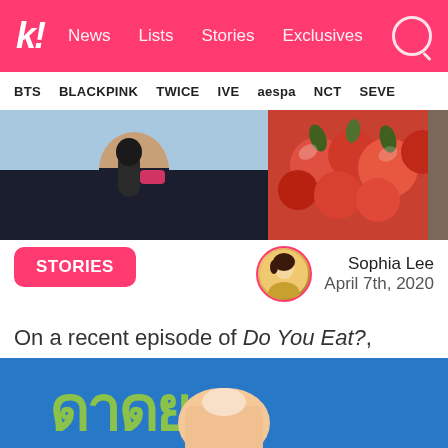k! News Lists Stories Exclusives
BTS  BLACKPINK  TWICE  IVE  aespa  NCT  SEVE
[Figure (photo): Left: person holding microphone at event. Right: red fruits/berries close-up. Far right: partially visible.]
STORIES
Sophia Lee
April 7th, 2020
On a recent episode of Do You Eat?, singer, Wax, and Hong Seok Cheon appeared on the show where he talked about the time he came out to his parents about being gay.
[Figure (photo): Bottom image showing a hand/finger in front of a blue background with yellow-green Korean text]